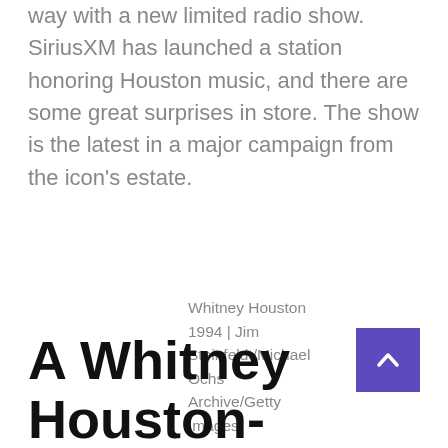way with a new limited radio show. SiriusXM has launched a station honoring Houston music, and there are some great surprises in store. The show is the latest in a major campaign from the icon's estate.
Whitney Houston 1994 | Jim Steinfeldt/Michael Ochs Archive/Getty Images
A Whitney Houston-